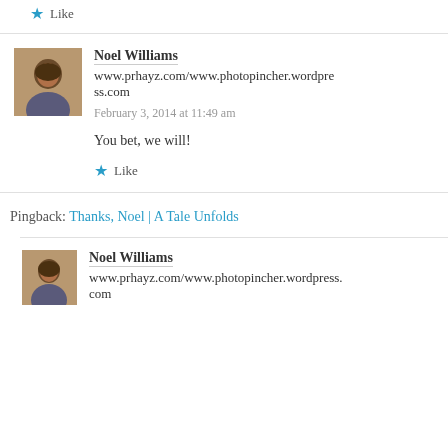★ Like
Noel Williams
www.prhayz.com/www.photopincher.wordpress.com
February 3, 2014 at 11:49 am
You bet, we will!
★ Like
Pingback: Thanks, Noel | A Tale Unfolds
Noel Williams
www.prhayz.com/www.photopincher.wordpress.com